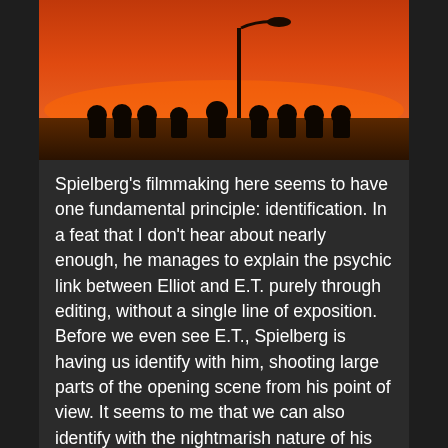[Figure (photo): Silhouettes of people (approximately 9 figures) seated in a row against a vivid orange-red sunset sky, with a street lamp visible. The image has a dramatic, cinematic quality with dark foreground and bright warm sky.]
Spielberg's filmmaking here seems to have one fundamental principle: identification. In a feat that I don't hear about nearly enough, he manages to explain the psychic link between Elliot and E.T. purely through editing, without a single line of exposition. Before we even see E.T., Spielberg is having us identify with him, shooting large parts of the opening scene from his point of view. It seems to me that we can also identify with the nightmarish nature of his predicament, too: the whole thing feels like a dream where you're running toward a door that you know is going to close before you can get there.